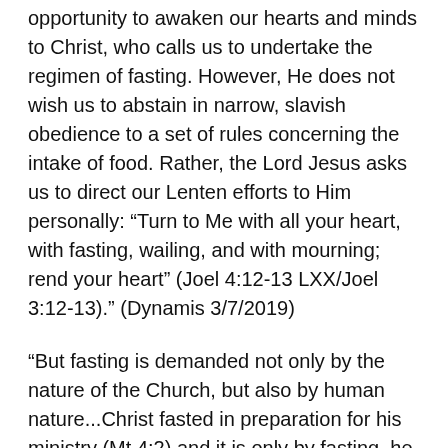...in the coming fast, we have the opportunity to awaken our hearts and minds to Christ, who calls us to undertake the regimen of fasting. However, He does not wish us to abstain in narrow, slavish obedience to a set of rules concerning the intake of food. Rather, the Lord Jesus asks us to direct our Lenten efforts to Him personally: “Turn to Me with all your heart, with fasting, wailing, and with mourning; rend your heart” (Joel 4:12-13 LXX/Joel 3:12-13).” (Dynamis 3/7/2019)
“But fasting is demanded not only by the nature of the Church, but also by human nature...Christ fasted in preparation for his ministry (Mt 4:2) and it is only by fasting, he tells us, that certain devils are cast out (Mt 17:21). It is by food that...